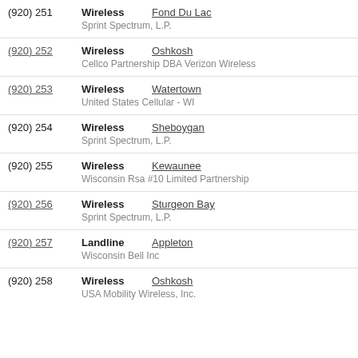(920) 251 | Wireless | Fond Du Lac | Sprint Spectrum, L.P.
(920) 252 | Wireless | Oshkosh | Cellco Partnership DBA Verizon Wireless
(920) 253 | Wireless | Watertown | United States Cellular - WI
(920) 254 | Wireless | Sheboygan | Sprint Spectrum, L.P.
(920) 255 | Wireless | Kewaunee | Wisconsin Rsa #10 Limited Partnership
(920) 256 | Wireless | Sturgeon Bay | Sprint Spectrum, L.P.
(920) 257 | Landline | Appleton | Wisconsin Bell Inc
(920) 258 | Wireless | Oshkosh | USA Mobility Wireless, Inc.